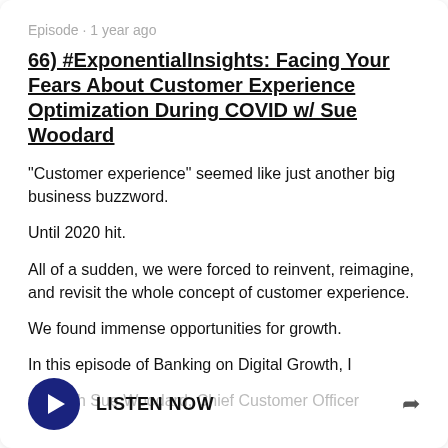Episode · 1 year ago
66) #ExponentialInsights: Facing Your Fears About Customer Experience Optimization During COVID w/ Sue Woodard
"Customer experience" seemed like just another big business buzzword.
Until 2020 hit.
All of a sudden, we were forced to reinvent, reimagine, and revisit the whole concept of customer experience.
We found immense opportunities for growth.
In this episode of Banking on Digital Growth, I talk with Sue Woodard, Chief Customer Officer
LISTEN NOW